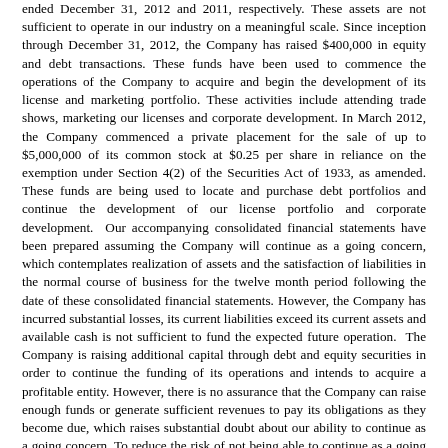ended December 31, 2012 and 2011, respectively. These assets are not sufficient to operate in our industry on a meaningful scale. Since inception through December 31, 2012, the Company has raised $400,000 in equity and debt transactions. These funds have been used to commence the operations of the Company to acquire and begin the development of its license and marketing portfolio. These activities include attending trade shows, marketing our licenses and corporate development. In March 2012, the Company commenced a private placement for the sale of up to $5,000,000 of its common stock at $0.25 per share in reliance on the exemption under Section 4(2) of the Securities Act of 1933, as amended. These funds are being used to locate and purchase debt portfolios and continue the development of our license portfolio and corporate development. Our accompanying consolidated financial statements have been prepared assuming the Company will continue as a going concern, which contemplates realization of assets and the satisfaction of liabilities in the normal course of business for the twelve month period following the date of these consolidated financial statements. However, the Company has incurred substantial losses, its current liabilities exceed its current assets and available cash is not sufficient to fund the expected future operation. The Company is raising additional capital through debt and equity securities in order to continue the funding of its operations and intends to acquire a profitable entity. However, there is no assurance that the Company can raise enough funds or generate sufficient revenues to pay its obligations as they become due, which raises substantial doubt about our ability to continue as a going concern. To reduce the risk of not being able to continue as a going concern, management has implemented its business plan to materialize revenues from it license agreements and has initiated a private placement offering to raise capital through the sale of its common stock and is seeking out profitable companies and debt portfolios for acquisition. Although, uncertainty exists as to whether the Company will be